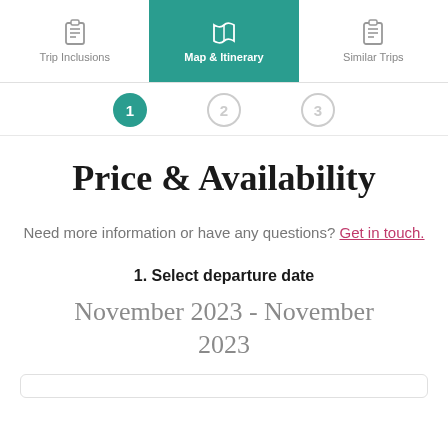Trip Inclusions | Map & Itinerary | Similar Trips
[Figure (infographic): Step indicators: step 1 (active/filled teal circle), step 2, step 3 (inactive grey circles)]
Price & Availability
Need more information or have any questions? Get in touch.
1. Select departure date
November 2023 - November 2023